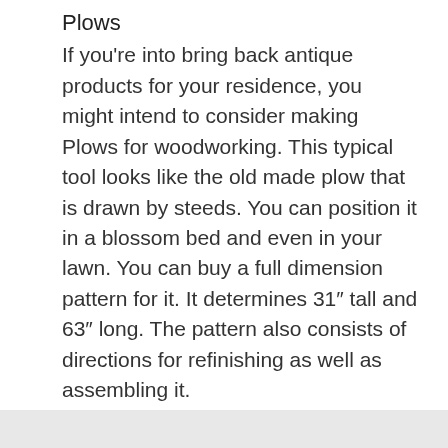Plows
If you're into bring back antique products for your residence, you might intend to consider making Plows for woodworking. This typical tool looks like the old made plow that is drawn by steeds. You can position it in a blossom bed and even in your lawn. You can buy a full dimension pattern for it. It determines 31″ tall and 63″ long. The pattern also consists of directions for refinishing as well as assembling it.
Uncategorized
< Hello world!
> Cool Woodworking Projects